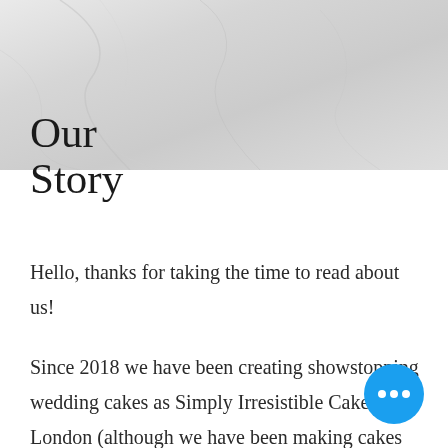[Figure (photo): Marble or stone texture hero image at top of page, light grey tones]
Our Story
Hello, thanks for taking the time to read about us!
Since 2018 we have been creating showstopping wedding cakes as Simply Irresistible Cakes London (although we have been making cakes for much longer!) Firstly alongside our full time jobs before we were both made redundant in 2020 - now this is our full